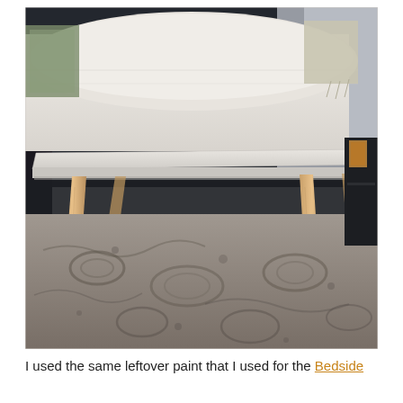[Figure (photo): A mid-century modern style bench with a white painted top surface and natural wood angled legs, positioned at the foot of a bed. The background shows a dark navy wall, beige bedding with a large bolster pillow, and a patterned grey area rug on the floor.]
I used the same leftover paint that I used for the Bedside